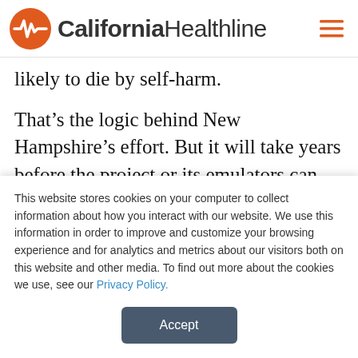California Healthline
likely to die by self-harm.
That’s the logic behind New Hampshire’s effort. But it will take years before the project or its emulators can show a quantitative impact, said Elaine Frank, who co-chairs the New Hampshire initiative.
Plus, it gets at only part of the problem — stopping
This website stores cookies on your computer to collect information about how you interact with our website. We use this information in order to improve and customize your browsing experience and for analytics and metrics about our visitors both on this website and other media. To find out more about the cookies we use, see our Privacy Policy.